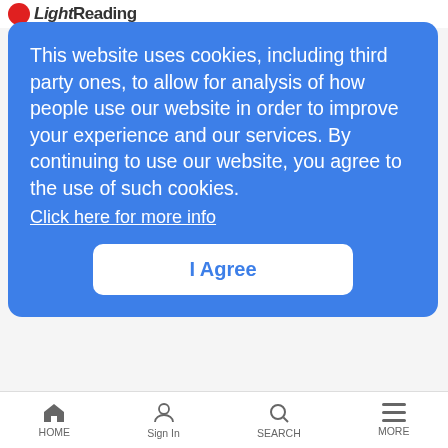Light Reading
This website uses cookies, including third party ones, to allow for analysis of how people use our website in order to improve your experience and our services. By continuing to use our website, you agree to the use of such cookies. Click here for more info
I Agree
[Figure (photo): Thumbnail of a man speaking into a microphone, with binary code overlay on a dark background]
The Telecoms.com Podcast: Let's Get Digital
LRTV Documentaries | 2/13/2018
Scott and Jamie are joined by special guest Paul Nolan from PR agency CC Group, who tells us about a bit of research his company commissioned into how operators are going about the move to…and their in digital…
HOME  Sign In  SEARCH  MORE